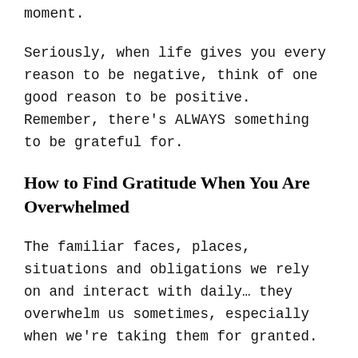moment.
Seriously, when life gives you every reason to be negative, think of one good reason to be positive.  Remember, there's ALWAYS something to be grateful for.
How to Find Gratitude When You Are Overwhelmed
The familiar faces, places, situations and obligations we rely on and interact with daily… they overwhelm us sometimes, especially when we're taking them for granted.
Have you ever noticed how the more familiar you become with an amazing